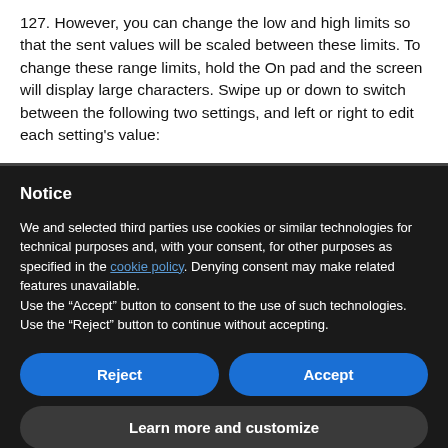127. However, you can change the low and high limits so that the sent values will be scaled between these limits. To change these range limits, hold the On pad and the screen will display large characters. Swipe up or down to switch between the following two settings, and left or right to edit each setting's value:
Notice
We and selected third parties use cookies or similar technologies for technical purposes and, with your consent, for other purposes as specified in the cookie policy. Denying consent may make related features unavailable.
Use the “Accept” button to consent to the use of such technologies. Use the “Reject” button to continue without accepting.
Reject
Accept
Learn more and customize